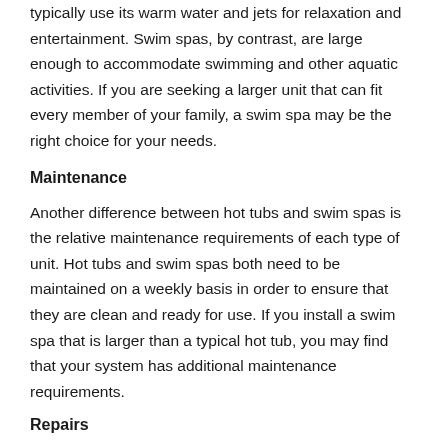typically use its warm water and jets for relaxation and entertainment. Swim spas, by contrast, are large enough to accommodate swimming and other aquatic activities. If you are seeking a larger unit that can fit every member of your family, a swim spa may be the right choice for your needs.
Maintenance
Another difference between hot tubs and swim spas is the relative maintenance requirements of each type of unit. Hot tubs and swim spas both need to be maintained on a weekly basis in order to ensure that they are clean and ready for use. If you install a swim spa that is larger than a typical hot tub, you may find that your system has additional maintenance requirements.
Repairs